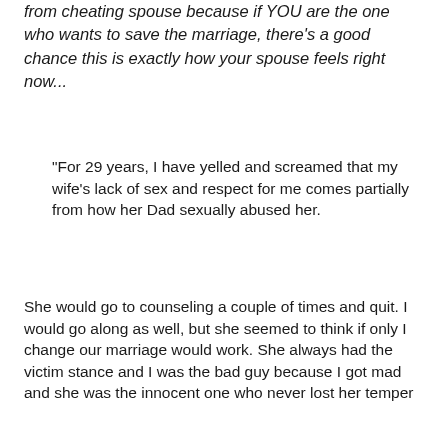from cheating spouse because if YOU are the one who wants to save the marriage, there's a good chance this is exactly how your spouse feels right now...
"For 29 years, I have yelled and screamed that my wife's lack of sex and respect for me comes partially from how her Dad sexually abused her.
She would go to counseling a couple of times and quit. I would go along as well, but she seemed to think if only I change our marriage would work. She always had the victim stance and I was the bad guy because I got mad and she was the innocent one who never lost her temper